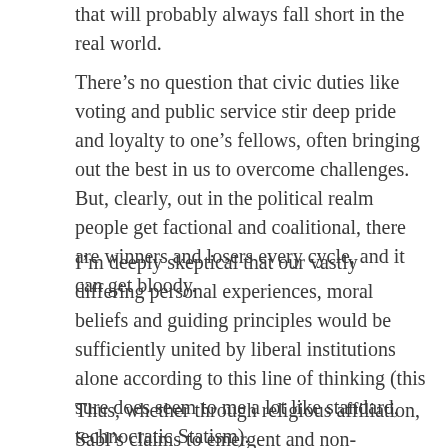that will probably always fall short in the real world.
There’s no question that civic duties like voting and public service stir deep pride and loyalty to one’s fellows, often bringing out the best in us to overcome challenges.  But, clearly, out in the political realm people get factional and coalitional, there are winners and losers every cycle, and it can get bloody.
I’m deeply skeptical that our vastly differing personal experiences, moral beliefs and guiding principles would be sufficiently united by liberal institutions alone according to this line of thinking (this sure does seem to me a lot like standard, technocratic Statism).
Thus, whether through religious affiliation, Sabl’s claims to emergent and non-teleological liberal institutions,